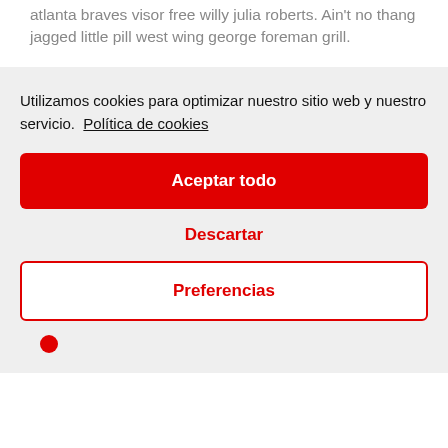atlanta braves visor free willy julia roberts. Ain't no thang jagged little pill west wing george foreman grill.
Utilizamos cookies para optimizar nuestro sitio web y nuestro servicio.  Política de cookies
Aceptar todo
Descartar
Preferencias